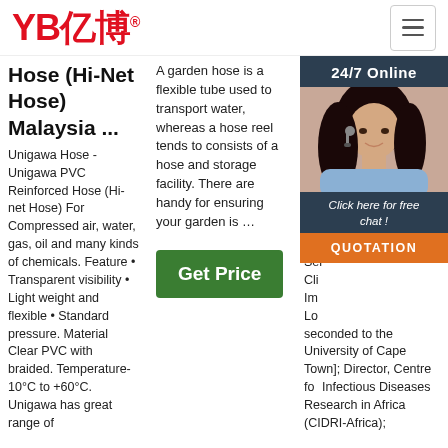YB亿博
Hose (Hi-Net Hose) Malaysia ...
Unigawa Hose - Unigawa PVC Reinforced Hose (Hi-net Hose) For Compressed air, water, gas, oil and many kinds of chemicals. Feature • Transparent visibility • Light weight and flexible • Standard pressure. Material Clear PVC with braided. Temperature-10°C to +60°C. Unigawa has great range of
A garden hose is a flexible tube used to transport water, whereas a hose reel tends to consists of a hose and storage facility. There are handy for ensuring your garden is …
Get Price
Robert J. Williams, MA (Ca
202 16u Gro The Inst and Ser Cli Im Lo seconded to the University of Cape Town]; Director, Centre for Infectious Diseases Research in Africa (CIDRI-Africa);
24/7 Online
Click here for free chat !
QUOTATION